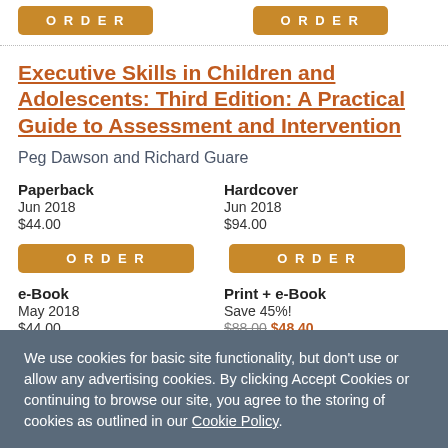ORDER (button, top left)
ORDER (button, top right)
Executive Skills in Children and Adolescents: Third Edition: A Practical Guide to Assessment and Intervention
Peg Dawson and Richard Guare
Paperback
Jun 2018
$44.00
Hardcover
Jun 2018
$94.00
ORDER (button, paperback)
ORDER (button, hardcover)
e-Book
May 2018
$44.00
Print + e-Book
Save 45%!
$88.00 $48.40
We use cookies for basic site functionality, but don't use or allow any advertising cookies. By clicking Accept Cookies or continuing to browse our site, you agree to the storing of cookies as outlined in our Cookie Policy.